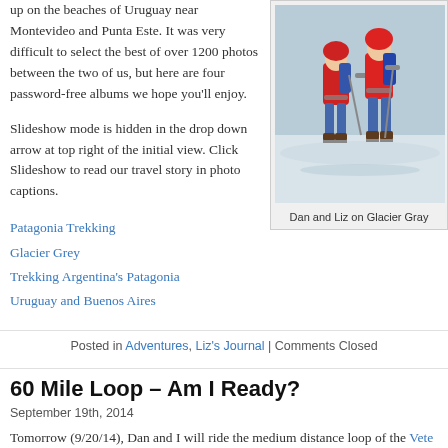up on the beaches of Uruguay near Montevideo and Punta Este. It was very difficult to select the best of over 1200 photos between the two of us, but here are four password-free albums we hope you’ll enjoy.
Slideshow mode is hidden in the drop down arrow at top right of the initial view. Click Slideshow to read our travel story in photo captions.
Patagonia Trekking
Glacier Grey
Trekking Argentina’s Patagonia
Uruguay and Buenos Aires
[Figure (photo): Two people in red winter jackets and climbing gear standing on a glacier (ice). Caption: Dan and Liz on Glacier Gray.]
Dan and Liz on Glacier Gray
Posted in Adventures, Liz’s Journal | Comments Closed
60 Mile Loop – Am I Ready?
September 19th, 2014
Tomorrow (9/20/14), Dan and I will ride the medium distance loop of the Vete Victory Velo (V3) fund raiser. Sixty miles is farther than I have ever ridden on road bike so far. The hilly 52-mile route I did a month ago didn’t trash me, so too worried.